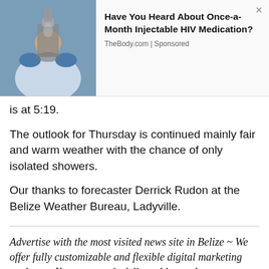[Figure (photo): Advertisement banner with photo of person in blue gloves using a microscope, with text about Once-a-Month Injectable HIV Medication from TheBody.com]
is at 5:19.
The outlook for Thursday is continued mainly fair and warm weather with the chance of only isolated showers.
Our thanks to forecaster Derrick Rudon at the Belize Weather Bureau, Ladyville.
Advertise with the most visited news site in Belize ~ We offer fully customizable and flexible digital marketing packages. Your content is delivered instantly to thousands of users in Belize and abroad! Contact us at